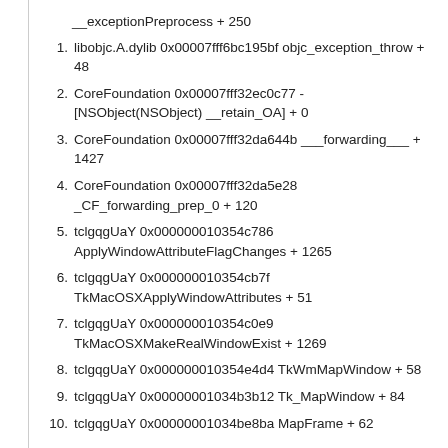__exceptionPreprocess + 250
1. libobjc.A.dylib 0x00007fff6bc195bf objc_exception_throw + 48
2. CoreFoundation 0x00007fff32ec0c77 -[NSObject(NSObject) __retain_OA] + 0
3. CoreFoundation 0x00007fff32da644b ___forwarding___ + 1427
4. CoreFoundation 0x00007fff32da5e28 _CF_forwarding_prep_0 + 120
5. tclgqgUaY 0x000000010354c786 ApplyWindowAttributeFlagChanges + 1265
6. tclgqgUaY 0x000000010354cb7f TkMacOSXApplyWindowAttributes + 51
7. tclgqgUaY 0x000000010354c0e9 TkMacOSXMakeRealWindowExist + 1269
8. tclgqgUaY 0x000000010354e4d4 TkWmMapWindow + 58
9. tclgqgUaY 0x00000001034b3b12 Tk_MapWindow + 84
10. tclgqgUaY 0x00000001034be8ba MapFrame + 62